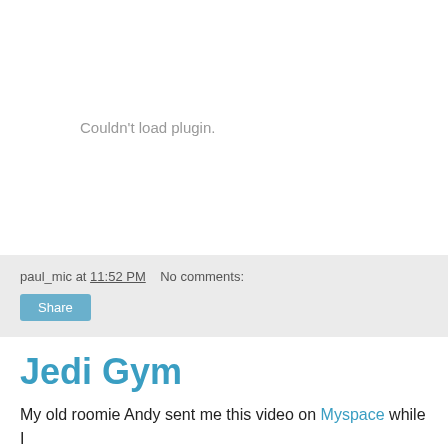Couldn't load plugin.
paul_mic at 11:52 PM   No comments:
Share
Jedi Gym
My old roomie Andy sent me this video on Myspace while I